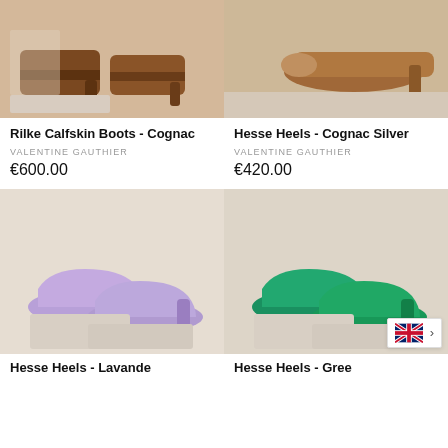[Figure (photo): Brown cognac calfskin boots on a cream pedestal, product photo]
[Figure (photo): Cognac silver heels on a cream surface, product photo]
Rilke Calfskin Boots - Cognac
VALENTINE GAUTHIER
€600.00
Hesse Heels - Cognac Silver
VALENTINE GAUTHIER
€420.00
[Figure (photo): Lavender suede block heel pumps on cream pedestals, product photo]
[Figure (photo): Green suede block heel pumps on cream pedestals, product photo]
Hesse Heels - Lavande
Hesse Heels - Gree